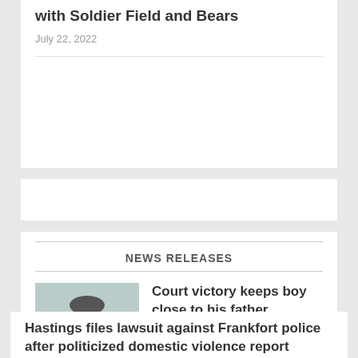with Soldier Field and Bears
July 22, 2022
NEWS RELEASES
[Figure (photo): Headshot of a man with glasses wearing a dark suit and tie]
Court victory keeps boy close to his father
September 2, 2022
Hastings files lawsuit against Frankfort police after politicized domestic violence report released